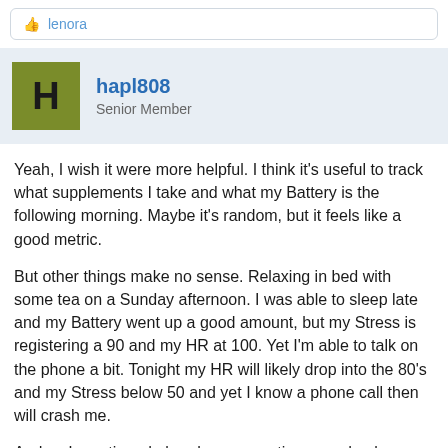lenora
hapl808
Senior Member
Yeah, I wish it were more helpful. I think it's useful to track what supplements I take and what my Battery is the following morning. Maybe it's random, but it feels like a good metric.
But other things make no sense. Relaxing in bed with some tea on a Sunday afternoon. I was able to sleep late and my Battery went up a good amount, but my Stress is registering a 90 and my HR at 100. Yet I'm able to talk on the phone a bit. Tonight my HR will likely drop into the 80's and my Stress below 50 and yet I know a phone call then will crash me.
And as I mentioned elsewhere, sometimes randomly my HRV will look much improved for a few hours or a day, but I have no idea what's going on or why.